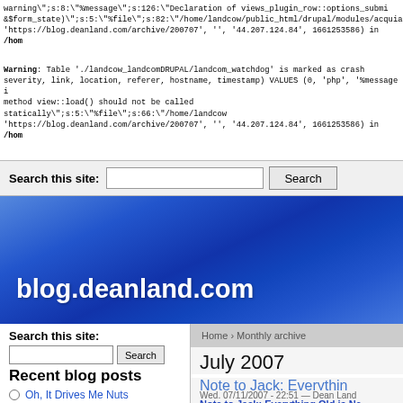warning";s:8:"%message";s:126:"Declaration of views_plugin_row::options_submi &$form_state)";s:5:"%file";s:82:"/home/landcow/public_html/drupal/modules/acquia 'https://blog.deanland.com/archive/200707', '', '44.207.124.84', 1661253586) in /hom
Warning: Table './landcow_landcomDRUPAL/landcom_watchdog' is marked as crash severity, link, location, referer, hostname, timestamp) VALUES (0, 'php', '%message method view::load() should not be called statically";s:5:"%file";s:66:"/home/landcow 'https://blog.deanland.com/archive/200707', '', '44.207.124.84', 1661253586) in /hom
Search this site:
blog.deanland.com
Home › Monthly archive
Search this site:
July 2007
Recent blog posts
Oh, It Drives Me Nuts
Note to Jack: Everyth...
Wed, 07/11/2007 - 22:51 — Dean Land
Note to Jack: Everything Old is Ne...